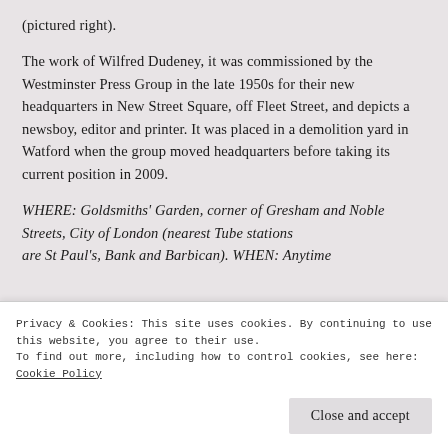(pictured right).
The work of Wilfred Dudeney, it was commissioned by the Westminster Press Group in the late 1950s for their new headquarters in New Street Square, off Fleet Street, and depicts a newsboy, editor and printer. It was placed in a demolition yard in Watford when the group moved headquarters before taking its current position in 2009.
WHERE: Goldsmiths' Garden, corner of Gresham and Noble Streets, City of London (nearest Tube stations are St Paul's, Bank and Barbican). WHEN: Anytime...
Privacy & Cookies: This site uses cookies. By continuing to use this website, you agree to their use.
To find out more, including how to control cookies, see here: Cookie Policy
Close and accept